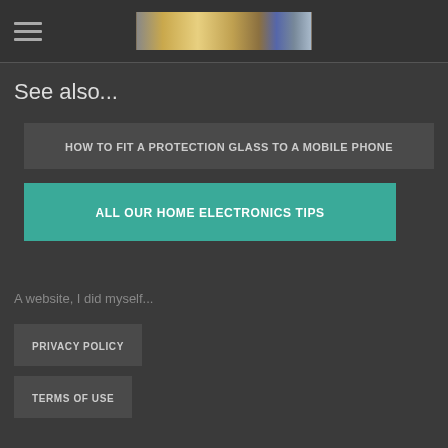[Figure (screenshot): Website header bar with hamburger menu icon on the left and a website logo/banner image in the center]
See also...
HOW TO FIT A PROTECTION GLASS TO A MOBILE PHONE
ALL OUR HOME ELECTRONICS TIPS
A website, I did myself...
PRIVACY POLICY
TERMS OF USE